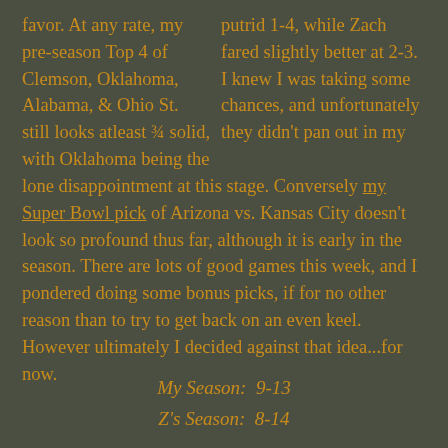putrid 1-4, while Zach fared slightly better at 2-3. I knew I was taking some chances, and unfortunately they didn't pan out in my favor. At any rate, my pre-season Top 4 of Clemson, Oklahoma, Alabama, & Ohio St. still looks atleast ¾ solid, with Oklahoma being the lone disappointment at this stage. Conversely my Super Bowl pick of Arizona vs. Kansas City doesn't look so profound thus far, although it is early in the season. There are lots of good games this week, and I pondered doing some bonus picks, if for no other reason than to try to get back on an even keel. However ultimately I decided against that idea...for now.
My Season:  9-13
Z's Season:  8-14